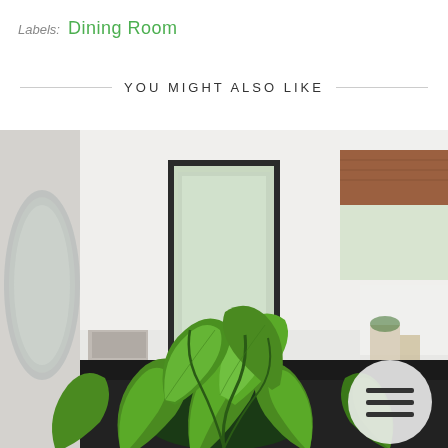Labels:  Dining Room
YOU MIGHT ALSO LIKE
[Figure (photo): Interior kitchen/dining room photo with green pothos plant in foreground, black door in background, white cabinets, brown roman shade on window, and a hamburger menu icon overlay in bottom right corner]